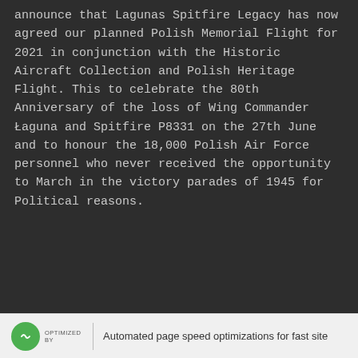announce that Lagunas Spitfire Legacy has now agreed our planned Polish Memorial Flight for 2021 in conjunction with the Historic Aircraft Collection and Polish Heritage Flight. This to celebrate the 80th Anniversary of the loss of Wing Commander Łaguna and Spitfire P8331 on the 27th June and to honour the 18,000 Polish Air Force personnel who never received the opportunity to March in the victory parades of 1945 for Political reasons.
OPTIMIZED BY | Automated page speed optimizations for fast site